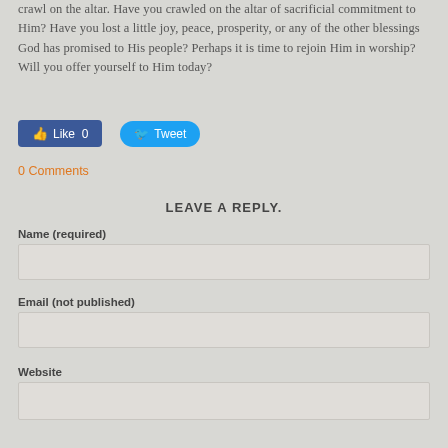crawl on the altar. Have you crawled on the altar of sacrificial commitment to Him? Have you lost a little joy, peace, prosperity, or any of the other blessings God has promised to His people? Perhaps it is time to rejoin Him in worship? Will you offer yourself to Him today?
[Figure (screenshot): Facebook Like button showing 'Like 0' count in blue]
[Figure (screenshot): Twitter Tweet button in blue with bird icon]
0 Comments
LEAVE A REPLY.
Name (required)
Email (not published)
Website